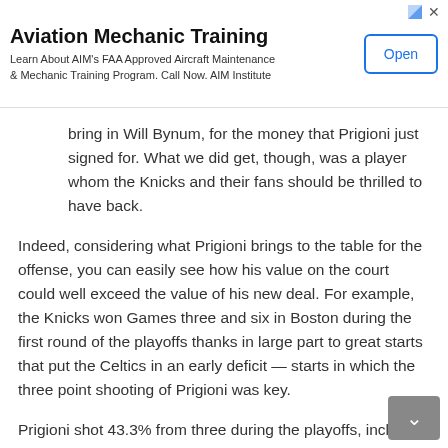[Figure (screenshot): Advertisement banner for Aviation Mechanic Training with Open button]
bring in Will Bynum, for the money that Prigioni just signed for. What we did get, though, was a player whom the Knicks and their fans should be thrilled to have back.
Indeed, considering what Prigioni brings to the table for the offense, you can easily see how his value on the court could well exceed the value of his new deal. For example, the Knicks won Games three and six in Boston during the first round of the playoffs thanks in large part to great starts that put the Celtics in an early deficit — starts in which the three point shooting of Prigioni was key.
Prigioni shot 43.3% from three during the playoffs, including 7-12 from deep — good for 58% — in the two aforementioned games against the Celtics.